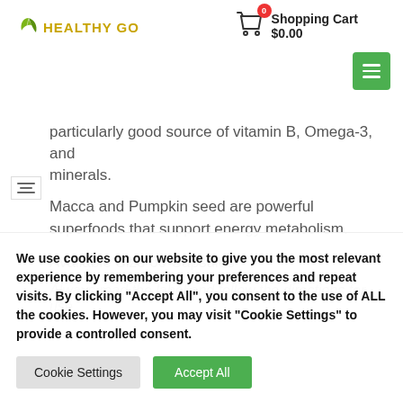Healthy Go — Shopping Cart $0.00
particularly good source of vitamin B, Omega-3, and minerals.
Macca and Pumpkin seed are powerful superfoods that support energy metabolism.
Available Size 60 Capsules
Always read the label and follow the directions for use.
We use cookies on our website to give you the most relevant experience by remembering your preferences and repeat visits. By clicking "Accept All", you consent to the use of ALL the cookies. However, you may visit "Cookie Settings" to provide a controlled consent.